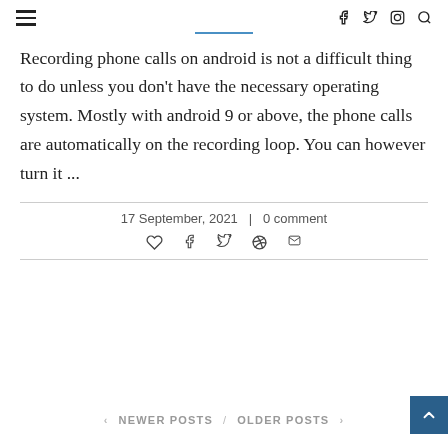≡  f  𝕏  ⓘ  🔍
Recording phone calls on android is not a difficult thing to do unless you don't have the necessary operating system. Mostly with android 9 or above, the phone calls are automatically on the recording loop. You can however turn it ...
17 September, 2021  |  0 comment
‹ NEWER POSTS  /  OLDER POSTS ›